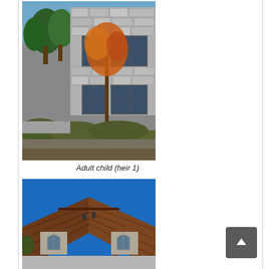[Figure (photo): Photo of a large stone residential house facade with large windows, trees with autumn foliage in the foreground, trimmed hedges, and landscaped garden area.]
Adult child (heir 1)
[Figure (photo): Photo of a residential house roof with brown shingles, dormers with arched stone accents, shot against a bright blue sky.]